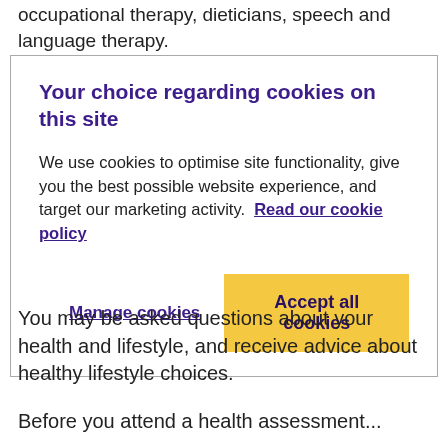occupational therapy, dieticians, speech and language therapy.
Your choice regarding cookies on this site
We use cookies to optimise site functionality, give you the best possible website experience, and target our marketing activity.  Read our cookie policy
Manage cookies
Accept all cookies
You may be asked questions about your health and lifestyle, and receive advice about healthy lifestyle choices.
Before you attend a health assessment...